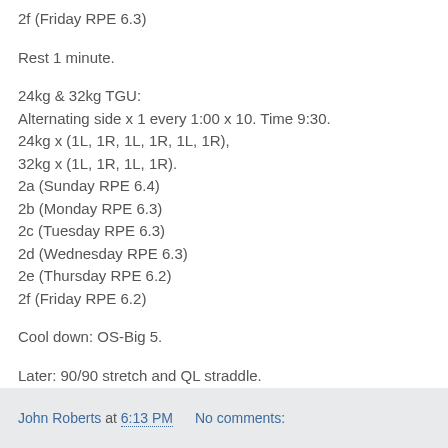2f (Friday RPE 6.3)
Rest 1 minute.
24kg & 32kg TGU:
Alternating side x 1 every 1:00 x 10. Time 9:30.
24kg x (1L, 1R, 1L, 1R, 1L, 1R),
32kg x (1L, 1R, 1L, 1R).
2a (Sunday RPE 6.4)
2b (Monday RPE 6.3)
2c (Tuesday RPE 6.3)
2d (Wednesday RPE 6.3)
2e (Thursday RPE 6.2)
2f (Friday RPE 6.2)
Cool down: OS-Big 5.
Later: 90/90 stretch and QL straddle.
John Roberts at 6:13 PM   No comments: